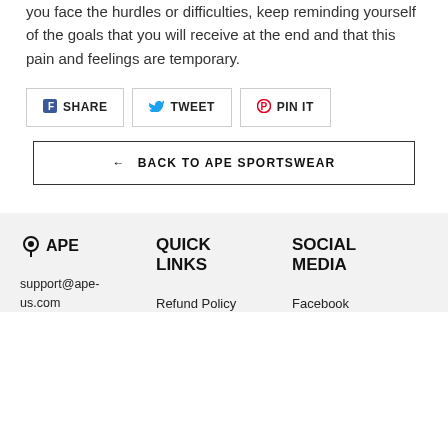you face the hurdles or difficulties, keep reminding yourself of the goals that you will receive at the end and that this pain and feelings are temporary.
SHARE  TWEET  PIN IT
← BACK TO APE SPORTSWEAR
[Figure (logo): APE logo with location pin icon and text 'APE']
QUICK LINKS
SOCIAL MEDIA
support@ape-us.com
Refund Policy
Facebook